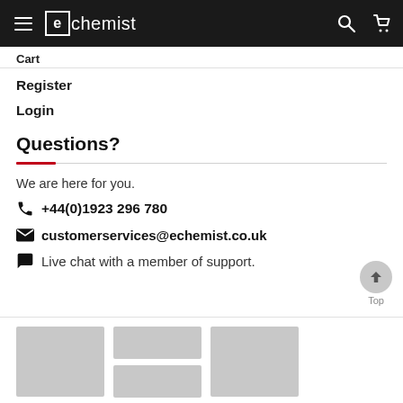echemist
Cart
Register
Login
Questions?
We are here for you.
+44(0)1923 296 780
customerservices@echemist.co.uk
Live chat with a member of support.
[Figure (other): Three image placeholders in a grid layout at the bottom of the page]